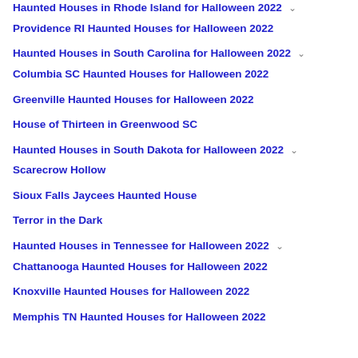Haunted Houses in Rhode Island for Halloween 2022
Providence RI Haunted Houses for Halloween 2022
Haunted Houses in South Carolina for Halloween 2022
Columbia SC Haunted Houses for Halloween 2022
Greenville Haunted Houses for Halloween 2022
House of Thirteen in Greenwood SC
Haunted Houses in South Dakota for Halloween 2022
Scarecrow Hollow
Sioux Falls Jaycees Haunted House
Terror in the Dark
Haunted Houses in Tennessee for Halloween 2022
Chattanooga Haunted Houses for Halloween 2022
Knoxville Haunted Houses for Halloween 2022
Memphis TN Haunted Houses for Halloween 2022